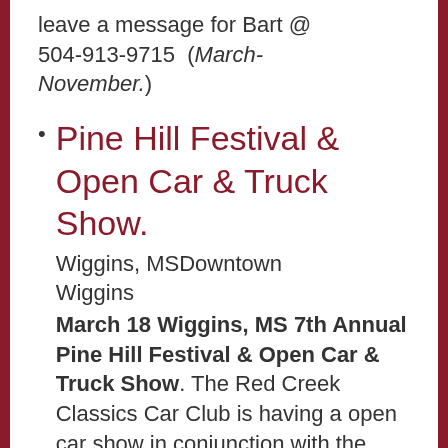leave a message for Bart @ 504-913-9715  (March-November.)
Pine Hill Festival & Open Car & Truck Show.
Wiggins, MSDowntown Wiggins
March 18 Wiggins, MS 7th Annual Pine Hill Festival & Open Car & Truck Show. The Red Creek Classics Car Club is having a open car show in conjunction with the Pine Hill